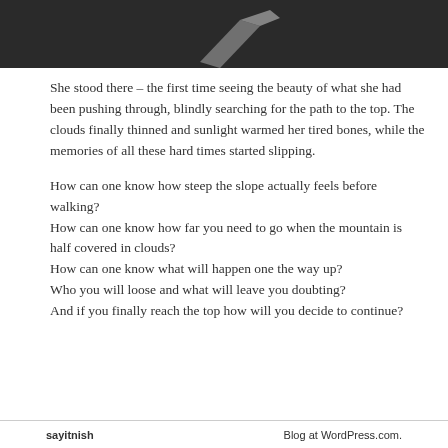[Figure (photo): Dark background image with a diagonal gray/silver arrow or wedge shape visible against a dark sky or surface — top portion of a mountain or landscape photo]
She stood there – the first time seeing the beauty of what she had been pushing through, blindly searching for the path to the top. The clouds finally thinned and sunlight warmed her tired bones, while the memories of all these hard times started slipping.
How can one know how steep the slope actually feels before walking?
How can one know how far you need to go when the mountain is half covered in clouds?
How can one know what will happen one the way up?
Who you will loose and what will leave you doubting?
And if you finally reach the top how will you decide to continue?
sayitnish    Blog at WordPress.com.